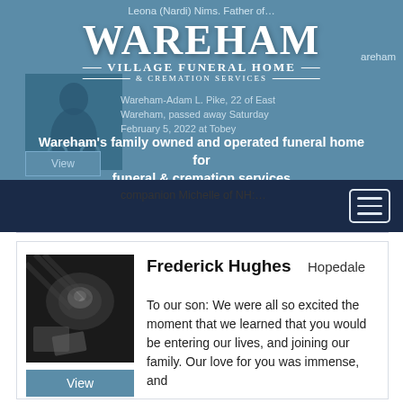Leona (Nardi) Nims. Father of...
[Figure (logo): Wareham Village Funeral Home & Cremation Services logo in white serif text on blue background]
Wareham's family owned and operated funeral home for funeral & cremation services
Wareham-Adam L. Pike, 22 of East Wareham, passed away Saturday February 5, 2022 at Tobey
companion Michelle of NH…
Frederick Hughes    Hopedale
[Figure (photo): Black and white photo of a baby ultrasound or similar image with papers]
View
To our son: We were all so excited the moment that we learned that you would be entering our lives, and joining our family. Our love for you was immense, and